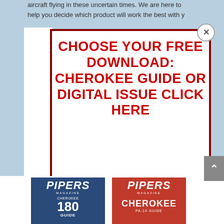aircraft flying in these uncertain times. We are here to help you decide which product will work the best with y
CHOOSE YOUR FREE DOWNLOAD: CHEROKEE GUIDE OR DIGITAL ISSUE CLICK HERE
[Figure (illustration): Two Pipers Magazine covers side by side - left cover shows Cherokee 180 Guide, right cover shows another issue]
[Figure (other): Close button (X) for modal dialog, circular with X symbol]